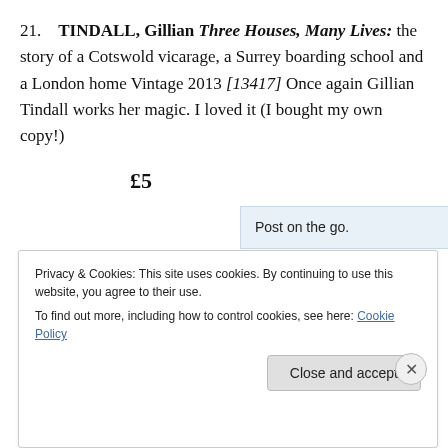21. TINDALL, Gillian Three Houses, Many Lives: the story of a Cotswold vicarage, a Surrey boarding school and a London home Vintage 2013 [13417] Once again Gillian Tindall works her magic. I loved it (I bought my own copy!)
£5
[Figure (other): Advertisement banner with text 'Post on the go.' and a logo on the right side with blue background elements]
REPORT THIS AD
Privacy & Cookies: This site uses cookies. By continuing to use this website, you agree to their use. To find out more, including how to control cookies, see here: Cookie Policy